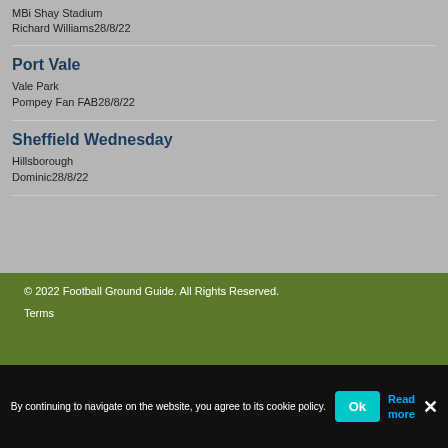MBi Shay Stadium
Richard Williams28/8/22
Port Vale
Vale Park
Pompey Fan FAB28/8/22
Sheffield Wednesday
Hillsborough
Dominic28/8/22
© 2022 Football Ground Guide. All Rights Reserved.
Terms
By continuing to navigate on the website, you agree to its cookie policy.